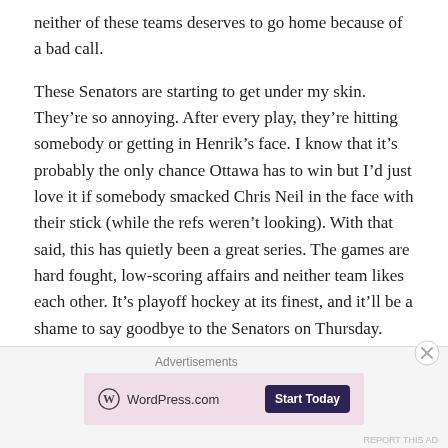neither of these teams deserves to go home because of a bad call.
These Senators are starting to get under my skin. They're so annoying. After every play, they're hitting somebody or getting in Henrik's face. I know that it's probably the only chance Ottawa has to win but I'd just love it if somebody smacked Chris Neil in the face with their stick (while the refs weren't looking). With that said, this has quietly been a great series. The games are hard fought, low-scoring affairs and neither team likes each other. It's playoff hockey at its finest, and it'll be a shame to say goodbye to the Senators on Thursday.
[Figure (other): Advertisement banner: WordPress.com logo with 'Start Today' button on pink background, with close (X) button overlay and 'REPORT THIS AD' link]